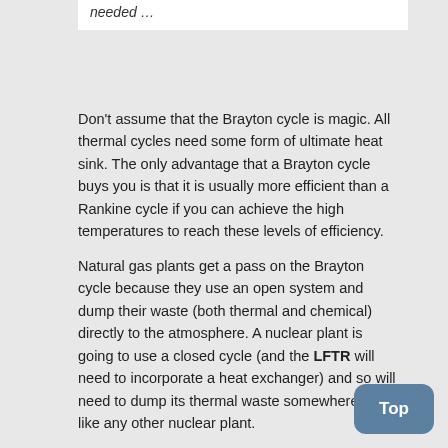needed …
Don't assume that the Brayton cycle is magic. All thermal cycles need some form of ultimate heat sink. The only advantage that a Brayton cycle buys you is that it is usually more efficient than a Rankine cycle if you can achieve the high temperatures to reach these levels of efficiency.
Natural gas plants get a pass on the Brayton cycle because they use an open system and dump their waste (both thermal and chemical) directly to the atmosphere. A nuclear plant is going to use a closed cycle (and the LFTR will need to incorporate a heat exchanger) and so will need to dump its thermal waste somewhere, just like any other nuclear plant.